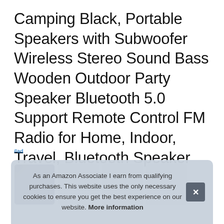Camping Black, Portable Speakers with Subwoofer Wireless Stereo Sound Bass Wooden Outdoor Party Speaker Bluetooth 5.0 Support Remote Control FM Radio for Home, Indoor, Travel, Bluetooth Speaker
#ad
[Figure (photo): A row of product image thumbnails for the Bluetooth speaker product, partially visible. The leftmost shows a dark-colored speaker product photo.]
As an Amazon Associate I earn from qualifying purchases. This website uses the only necessary cookies to ensure you get the best experience on our website. More information